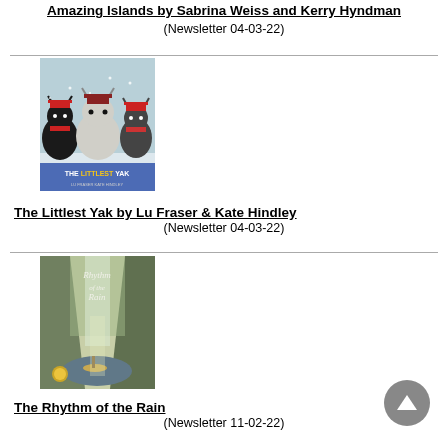Amazing Islands by Sabrina Weiss and Kerry Hyndman
(Newsletter 04-03-22)
[Figure (illustration): Book cover of The Littlest Yak showing cartoon yaks in winter clothing]
The Littlest Yak by Lu Fraser & Kate Hindley
(Newsletter 04-03-22)
[Figure (illustration): Book cover of The Rhythm of the Rain showing a misty river canyon scene]
The Rhythm of the Rain
(Newsletter 11-02-22)